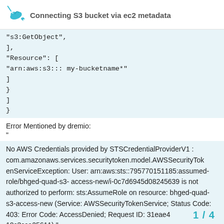Connecting S3 bucket via ec2 metadata
"s3:GetObject",
],
"Resource": [
"arn:aws:s3::: my-bucketname*"
]
}
]
}
Error Mentioned by dremio:
"
No AWS Credentials provided by STSCredentialProviderV1 : com.amazonaws.services.securitytoken.model.AWSSecurityTokenServiceException: User: arn:aws:sts::795770151185:assumed-role/bhged-quad-s3-access-new/i-0c7d6945d08245639 is not authorized to perform: sts:AssumeRole on resource: bhged-quad-s3-access-new (Service: AWSSecurityTokenService; Status Code: 403: Error Code: AccessDenied; Request ID: 31eae4 10c3cca25611)."
1 / 4